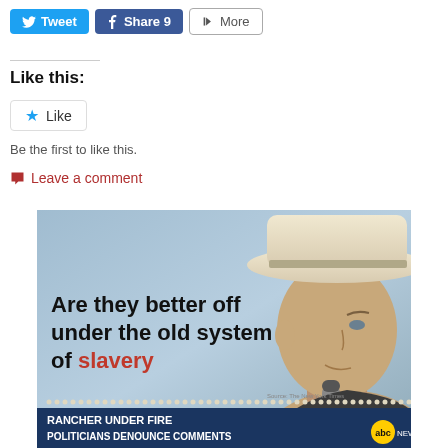[Figure (other): Social media share buttons: Tweet, Share 9, More]
Like this:
[Figure (other): Like button widget with star icon]
Be the first to like this.
Leave a comment
[Figure (screenshot): News screenshot showing a man in a cowboy hat with text overlay: 'Are they better off under the old system of slavery'. Bottom bar reads: RANCHER UNDER FIRE / POLITICIANS DENOUNCE COMMENTS with ABC NEWS logo.]